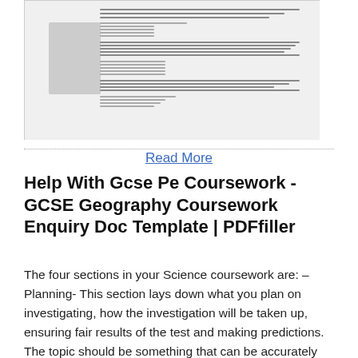[Figure (screenshot): A thumbnail preview of a document page with a gray image placeholder on the left and small text lines on the right]
Read More
Help With Gcse Pe Coursework - GCSE Geography Coursework Enquiry Doc Template | PDFfiller
The four sections in your Science coursework are: – Planning- This section lays down what you plan on investigating, how the investigation will be taken up, ensuring fair results of the test and making predictions. The topic should be something that can be accurately measured. You must consider the things you measure, control and can change. Help With Gcse Science Coursework - Paper 4: Alternative to coursework – The